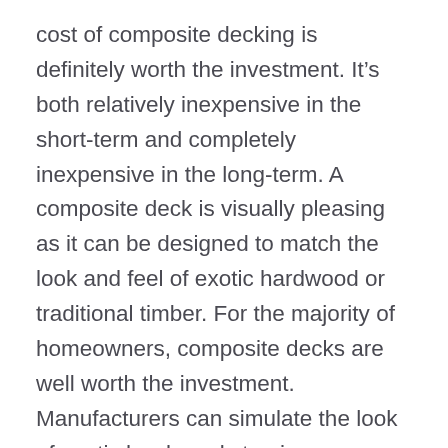cost of composite decking is definitely worth the investment. It’s both relatively inexpensive in the short-term and completely inexpensive in the long-term. A composite deck is visually pleasing as it can be designed to match the look and feel of exotic hardwood or traditional timber. For the majority of homeowners, composite decks are well worth the investment. Manufacturers can simulate the look of exotic hardwoods to give homeowners options that they normally wouldn’t have the ability to afford when building a deck. However, that similarity is just on the surface as composite decking boasts a ton of artificial decking material advantages that make it easier to own. To see if composite decking might meet